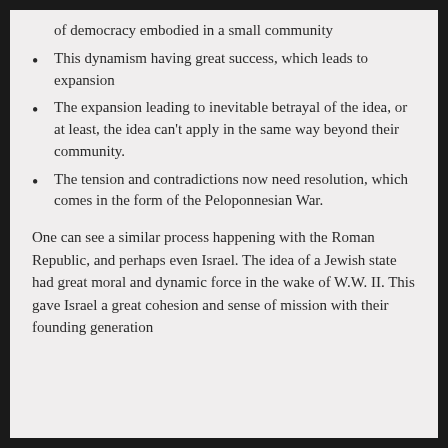of democracy embodied in a small community
This dynamism having great success, which leads to expansion
The expansion leading to inevitable betrayal of the idea, or at least, the idea can't apply in the same way beyond their community.
The tension and contradictions now need resolution, which comes in the form of the Peloponnesian War.
One can see a similar process happening with the Roman Republic, and perhaps even Israel. The idea of a Jewish state had great moral and dynamic force in the wake of W.W. II. This gave Israel a great cohesion and sense of mission with their founding generation